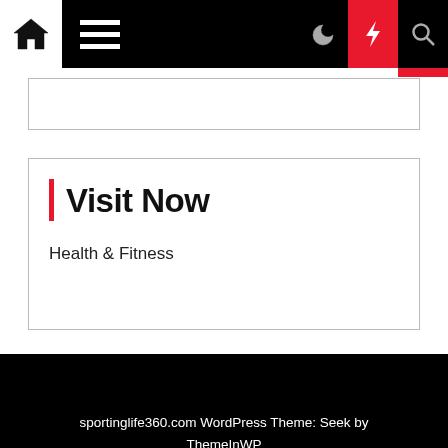[Figure (screenshot): Website navigation bar with home icon, hamburger menu, moon icon, red lightning bolt icon, and search icon on black background]
Visit Now
Health & Fitness
sportinglife360.com WordPress Theme: Seek by ThemeInWP
Subscribe US Now